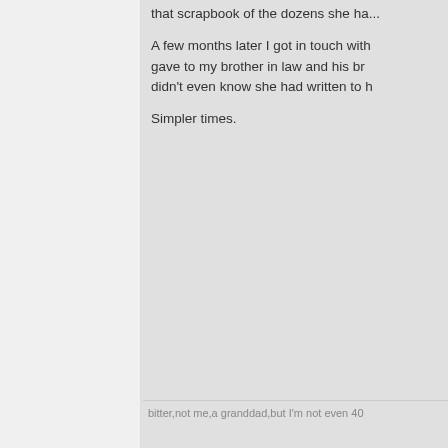that scrapbook of the dozens she ha...
A few months later I got in touch with... gave to my brother in law and his br... didn't even know she had written to h...
Simpler times.
bitter,not me,a granddad,but I'm not even 40
john_mac
The Scouse Confucius
Legacy Fan
★★★★★
[Figure (photo): Dark grey square with text REMEMBER]
Posts: 11,669
Only got 3 bullets and there's 4 of Motley Crew
Re: Shanklyboy's auld ar...
« Reply #39768 on: June 1, 2015
Quote from: only5times on June 1,...
That McMurtry fella is the business.
When we did the fundraising for the P... wanted to thank us. We took her flowe... was a teacher in Garston ( taught my... memorabilia we wanted to.
She showed us the scrapbooks she...